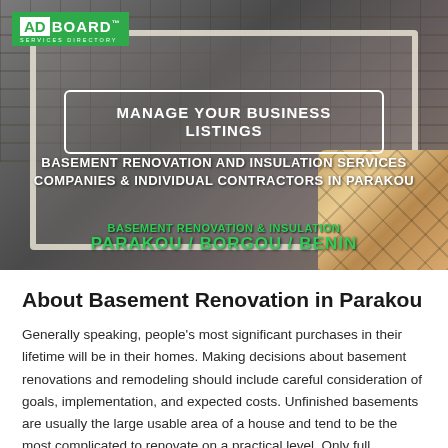[Figure (photo): Hero banner image showing a stone wall/fireplace background with a decorative wicker/waffle-textured pillow in the lower right. Contains AdBoard logo, a 'Manage Your Business Listings' button, and location/category text overlay.]
About Basement Renovation in Parakou
Generally speaking, people's most significant purchases in their lifetime will be in their homes. Making decisions about basement renovations and remodeling should include careful consideration of goals, implementation, and expected costs. Unfinished basements are usually the large usable area of a house and tend to be the most complicated to renovate on a practical level. Only full additions to homes generally require